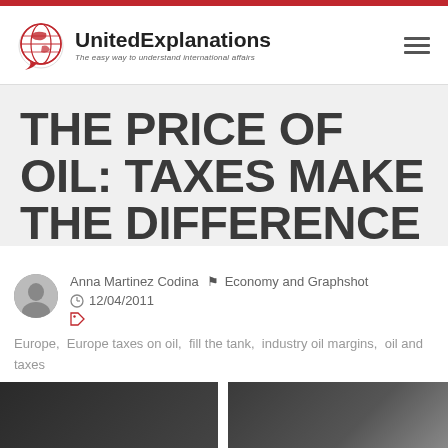UnitedExplanations – The easy way to understand international affairs
THE PRICE OF OIL: TAXES MAKE THE DIFFERENCE
Anna Martinez Codina   Economy and Graphshot   12/04/2011
Europe,  Europe taxes on oil,  fill the tank,  industry oil margins,  oil and taxes
[Figure (photo): Bottom image strip showing partial dark/black and white photo at the bottom of the article page]